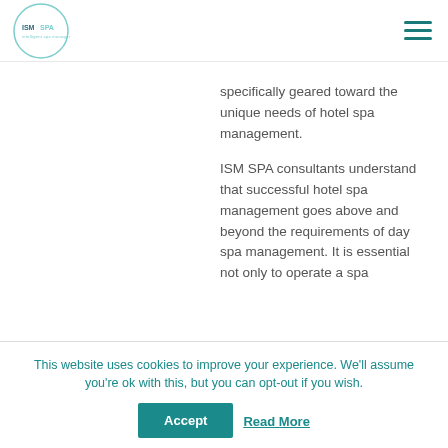ISM SPA
specifically geared toward the unique needs of hotel spa management.
ISM SPA consultants understand that successful hotel spa management goes above and beyond the requirements of day spa management. It is essential not only to operate a spa
This website uses cookies to improve your experience. We'll assume you're ok with this, but you can opt-out if you wish.
Accept
Read More